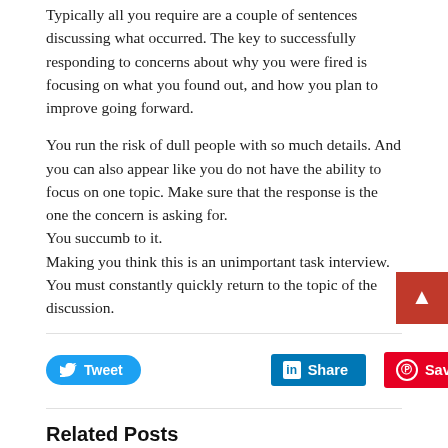Typically all you require are a couple of sentences discussing what occurred. The key to successfully responding to concerns about why you were fired is focusing on what you found out, and how you plan to improve going forward.
You run the risk of dull people with so much details. And you can also appear like you do not have the ability to focus on one topic. Make sure that the response is the one the concern is asking for.
You succumb to it.
Making you think this is an unimportant task interview. You must constantly quickly return to the topic of the discussion.
Related Posts
14 Ways To Become A Better Self
14 Ways To Become A Better Self
There are many ways to lose your self worth regardless of